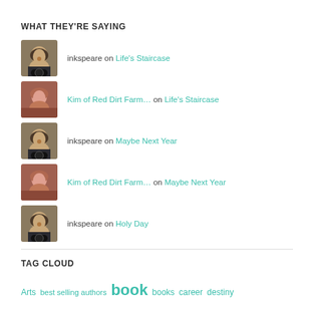WHAT THEY'RE SAYING
inkspeare on Life's Staircase
Kim of Red Dirt Farm… on Life's Staircase
inkspeare on Maybe Next Year
Kim of Red Dirt Farm… on Maybe Next Year
inkspeare on Holy Day
TAG CLOUD
Arts best selling authors book books career destiny